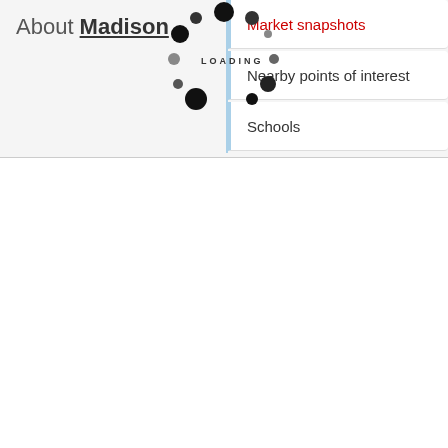About Madison
Market snapshots
Nearby points of interest
Schools
[Figure (other): Loading spinner animation with dots arranged in a circular pattern and the text LOADING in the center]